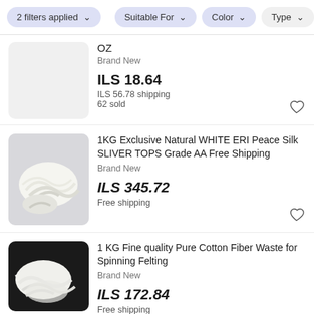2 filters applied | Suitable For | Color | Type
OZ
Brand New
ILS 18.64
ILS 56.78 shipping
62 sold
1KG Exclusive Natural WHITE ERI Peace Silk SLIVER TOPS Grade AA Free Shipping
Brand New
ILS 345.72
Free shipping
1 KG Fine quality Pure Cotton Fiber Waste for Spinning Felting
Brand New
ILS 172.84
Free shipping